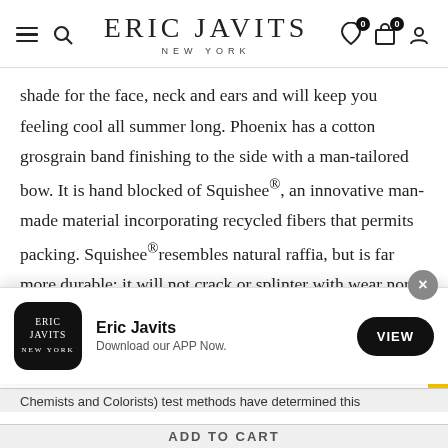Eric Javits New York
shade for the face, neck and ears and will keep you feeling cool all summer long. Phoenix has a cotton grosgrain band finishing to the side with a man-tailored bow. It is hand blocked of Squishee®, an innovative man-made material incorporating recycled fibers that permits packing. Squishee® resembles natural raffia, but is far more durable; it will not crack or splinter with wear nor melt when wet.
[Figure (screenshot): App download popup banner for Eric Javits with logo, text 'Eric Javits - Download our APP Now.' and a VIEW button]
Chemists and Colorists) test methods have determined this
ADD TO CART